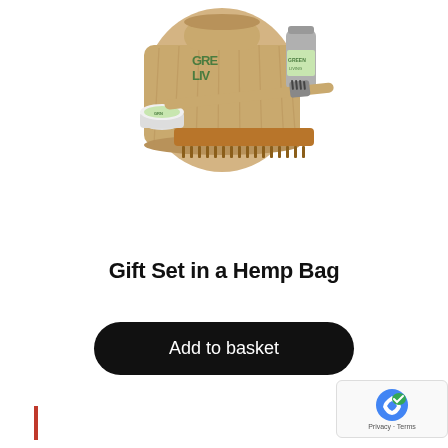[Figure (photo): Product photo: Green Living gift set in a hemp drawstring bag, including a bamboo toothbrush, wooden comb, small tin, and a small glass/aluminium bottle with green-labeled products.]
Gift Set in a Hemp Bag
Add to basket